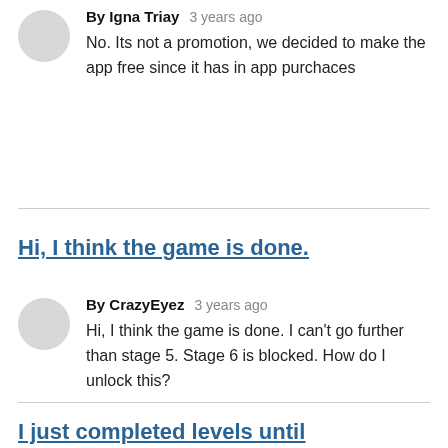By Igna Triay   3 years ago
No. Its not a promotion, we decided to make the app free since it has in app purchaces
Hi, I think the game is done.
By CrazyEyez   3 years ago
Hi, I think the game is done. I can't go further than stage 5. Stage 6 is blocked. How do I unlock this?
I just completed levels until